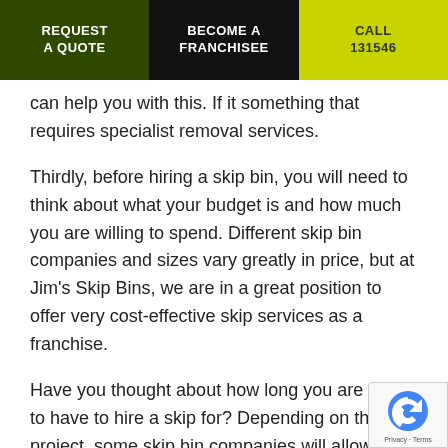REQUEST A QUOTE | BECOME A FRANCHISEE | CALL 131546
can help you with this. If it something that requires specialist removal services.
Thirdly, before hiring a skip bin, you will need to think about what your budget is and how much you are willing to spend. Different skip bin companies and sizes vary greatly in price, but at Jim's Skip Bins, we are in a great position to offer very cost-effective skip services as a franchise.
Have you thought about how long you are going to have to hire a skip for? Depending on the project, some skip bin companies will allow you to keep the skip for longer, while others will only allow it for a set numb days.